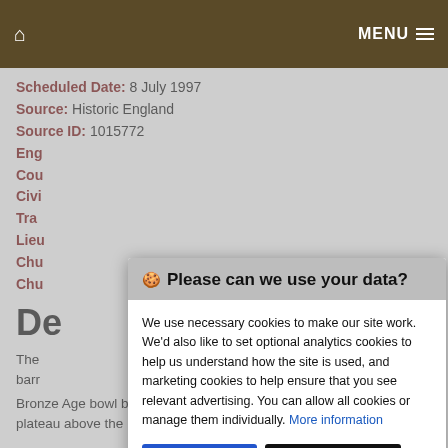🏠  MENU ≡
Scheduled Date: 8 July 1997
Source: Historic England
Source ID: 1015772
Eng...
Cou...
Civi...
Tra...
Lieu...
Chu...
Chu...
De...
The... g barr...
Bronze Age bowl barrow, situated below the summit of a plateau above the
[Figure (screenshot): Cookie consent modal dialog overlay. Header: '🍪 Please can we use your data?' on grey background. Body text: 'We use necessary cookies to make our site work. We'd also like to set optional analytics cookies to help us understand how the site is used, and marketing cookies to help ensure that you see relevant advertising. You can allow all cookies or manage them individually. More information'. Two buttons: 'Accept Cookies' (blue) and 'Customise Cookies' (black).]